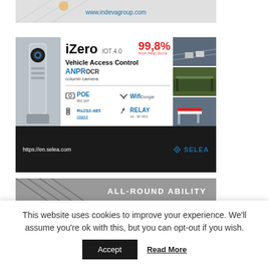[Figure (illustration): Partial view of an advertisement banner for indevagroup.com showing www.indevagroup.com text]
[Figure (illustration): Advertisement for iZero IOT 4.0 Vehicle Access Control system by SELEA. Shows 99.8% high precision ANPR OCR column camera with POE 802.3AF, Wifi Dongle, Rs232-485 wiegand, and RELAY 1A-30VDC connectivity. Three photos of parking/gate installations on right side. URL: https://en.selea.com]
[Figure (illustration): Partial advertisement banner with text ALL-ROUND ABILITY visible on dark/grey background]
This website uses cookies to improve your experience. We'll assume you're ok with this, but you can opt-out if you wish.
Accept
Read More